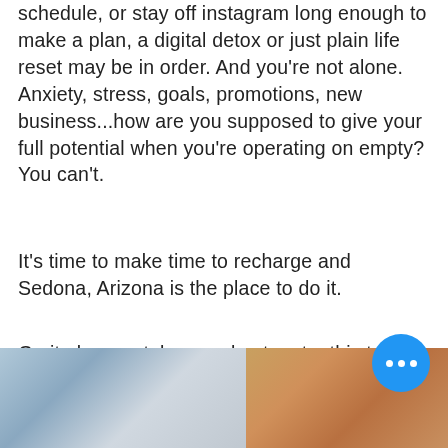schedule, or stay off instagram long enough to make a plan, a digital detox or just plain life reset may be in order. And you're not alone. Anxiety, stress, goals, promotions, new business...how are you supposed to give your full potential when you're operating on empty? You can't.
It's time to make time to recharge and Sedona, Arizona is the place to do it.
Go it alone or take your best mate, this trip guide will lead you to some of the most magical and healing places in the Arizona desert; cell phone optional, work not permitted -- you're out of o...
[Figure (photo): Partial view of two landscape photos side by side at the bottom of the page: left shows a snowy or rocky mountain/blue-toned scene, right shows warm reddish-brown desert rock formations.]